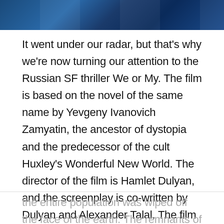[Figure (photo): Partial view of a sci-fi cityscape or futuristic building with blue tones, appears to be a film still or promotional image.]
It went under our radar, but that's why we're now turning our attention to the Russian SF thriller We or My. The film is based on the novel of the same name by Yevgeny Ivanovich Zamyatin, the ancestor of dystopia and the predecessor of the cult Huxley's Wonderful New World. The director of the film is Hamlet Dulyan, and the screenplay is co-written by Dulyan and Alexander Talal. The film is a production of Big Cinema House and Nemesis Films.
200 years have passed since the Great War. Almost the entire population was wiped off the face of the earth. The remnants of humanity live in a perfect One...